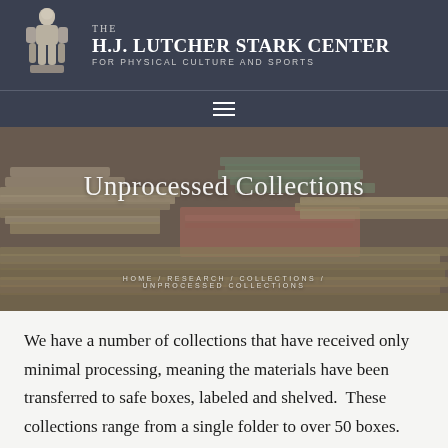[Figure (logo): The H.J. Lutcher Stark Center for Physical Culture and Sports logo with muscular figure sculpture and text]
The H.J. Lutcher Stark Center for Physical Culture and Sports
[Figure (photo): Stacks of unprocessed archival documents, folders, and papers on a table]
Unprocessed Collections
HOME / RESEARCH / COLLECTIONS / UNPROCESSED COLLECTIONS
We have a number of collections that have received only minimal processing, meaning the materials have been transferred to safe boxes, labeled and shelved.  These collections range from a single folder to over 50 boxes.  We are deeply grateful to those donors for giving us this important